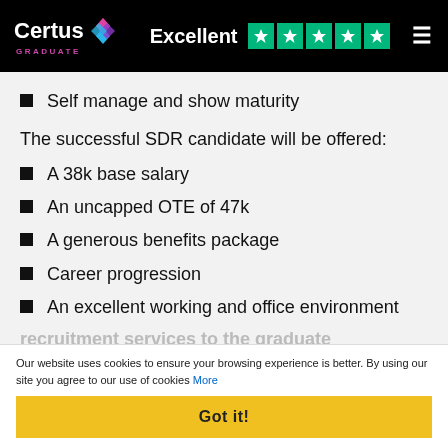Certus Graduate | Excellent ★★★★★
Self manage and show maturity
The successful SDR candidate will be offered:
A 38k base salary
An uncapped OTE of 47k
A generous benefits package
Career progression
An excellent working and office environment
Our website uses cookies to ensure your browsing experience is better. By using our site you agree to our use of cookies More
Got it!